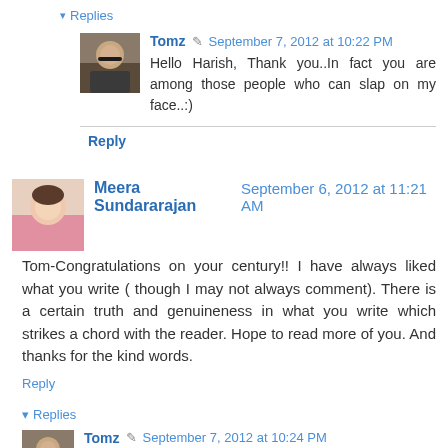▾ Replies
Tomz  September 7, 2012 at 10:22 PM
Hello Harish, Thank you..In fact you are among those people who can slap on my face..:)
Reply
Meera Sundararajan  September 6, 2012 at 11:21 AM
Tom-Congratulations on your century!! I have always liked what you write ( though I may not always comment). There is a certain truth and genuineness in what you write which strikes a chord with the reader. Hope to read more of you. And thanks for the kind words.
Reply
▾ Replies
Tomz  September 7, 2012 at 10:24 PM